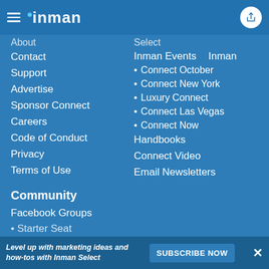inman
About
Contact
Support
Advertise
Sponsor Connect
Careers
Code of Conduct
Privacy
Terms of Use
Select
Inman Events
Inman
Connect October
Connect New York
Luxury Connect
Connect Las Vegas
Connect Now
Handbooks
Connect Video
Email Newsletters
Community
Facebook Groups
Level up with marketing ideas and how-tos with Inman Select  SUBSCRIBE NOW  ×